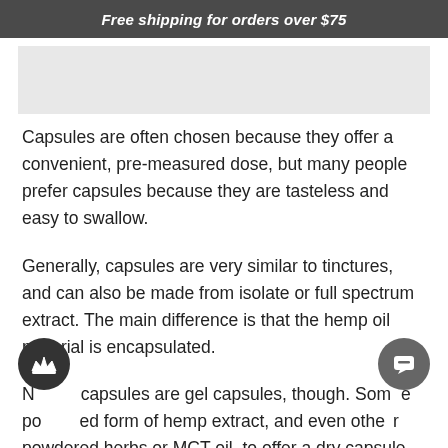Free shipping for orders over $75
[Figure (other): Gray placeholder image area at top of content]
Capsules are often chosen because they offer a convenient, pre-measured dose, but many people prefer capsules because they are tasteless and easy to swallow.
Generally, capsules are very similar to tinctures, and can also be made from isolate or full spectrum extract. The main difference is that the hemp oil material is encapsulated.
Not all capsules are gel capsules, though. Some are powdered form of hemp extract, and even others use powdered herbs or MCT oil, to offer a dry capsule